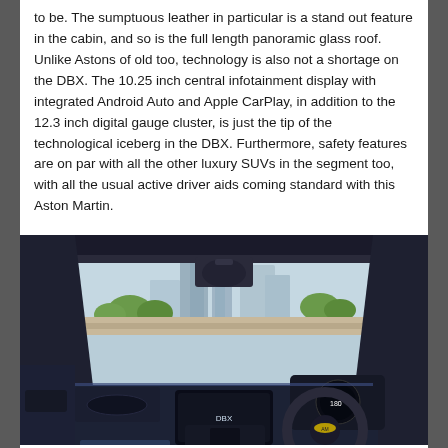to be. The sumptuous leather in particular is a stand out feature in the cabin, and so is the full length panoramic glass roof. Unlike Astons of old too, technology is also not a shortage on the DBX. The 10.25 inch central infotainment display with integrated Android Auto and Apple CarPlay, in addition to the 12.3 inch digital gauge cluster, is just the tip of the technological iceberg in the DBX. Furthermore, safety features are on par with all the other luxury SUVs in the segment too, with all the usual active driver aids coming standard with this Aston Martin.
[Figure (photo): Interior photo of an Aston Martin DBX showing the dashboard with central infotainment screen, steering wheel with Aston Martin logo, blue leather interior, and city skyline visible through the windshield.]